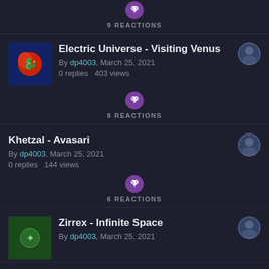9 REACTIONS
Electric Universe - Visiting Venus
By dp4003, March 25, 2021
0 replies  403 views
8 REACTIONS
Khetzal - Avasari
By dp4003, March 25, 2021
0 replies  144 views
6 REACTIONS
Zirrex - Infinite Space
By dp4003, March 25, 2021